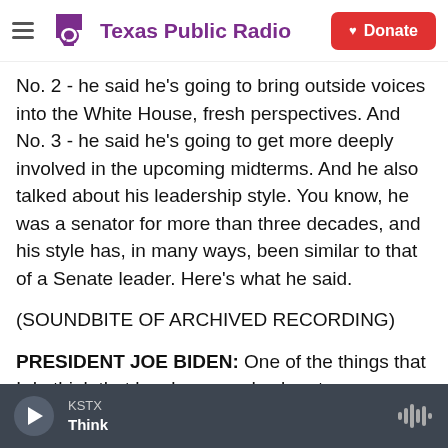Texas Public Radio
No. 2 - he said he's going to bring outside voices into the White House, fresh perspectives. And No. 3 - he said he's going to get more deeply involved in the upcoming midterms. And he also talked about his leadership style. You know, he was a senator for more than three decades, and his style has, in many ways, been similar to that of a Senate leader. Here's what he said.
(SOUNDBITE OF ARCHIVED RECORDING)
PRESIDENT JOE BIDEN: One of the things that I do think that has been made clear to me, speaking of polling, is the public doesn't want me to be the
KSTX Think